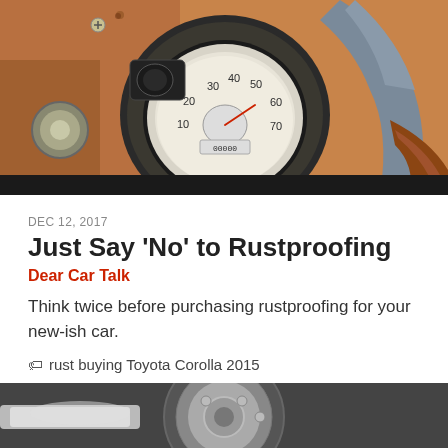[Figure (photo): Close-up photo of a vintage car dashboard speedometer with orange/rust colored body and a steering wheel visible on the right]
DEC 12, 2017
Just Say 'No' to Rustproofing
Dear Car Talk
Think twice before purchasing rustproofing for your new-ish car.
rust buying Toyota Corolla 2015
[Figure (photo): Close-up of car brake or wheel mechanical component, silver/chrome metal parts]